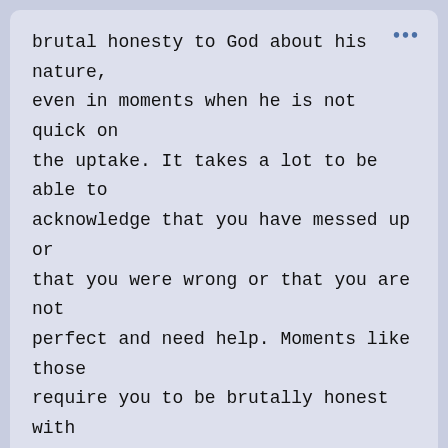brutal honesty to God about his nature, even in moments when he is not quick on the uptake. It takes a lot to be able to acknowledge that you have messed up or that you were wrong or that you are not perfect and need help. Moments like those require you to be brutally honest with yourself and humble enough to make the acknowledgement.
Frankly, that's the way I want to live my life. I choose to be an active participant in my life over the casual observer. I choose to be introspective and insightful. I choose to be worth the...